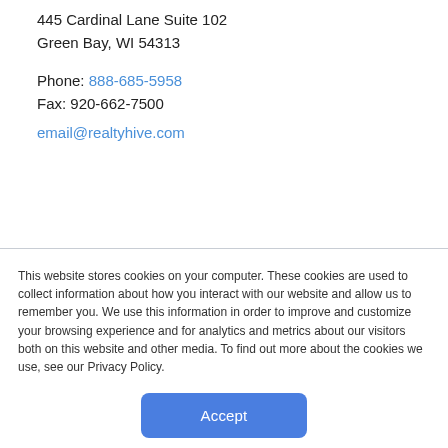445 Cardinal Lane Suite 102
Green Bay, WI 54313
Phone: 888-685-5958
Fax: 920-662-7500
email@realtyhive.com
This website stores cookies on your computer. These cookies are used to collect information about how you interact with our website and allow us to remember you. We use this information in order to improve and customize your browsing experience and for analytics and metrics about our visitors both on this website and other media. To find out more about the cookies we use, see our Privacy Policy.
Accept